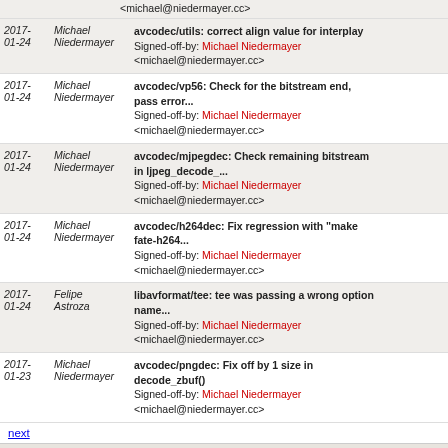| Date | Author | Message |
| --- | --- | --- |
|  |  | <michael@niedermayer.cc> |
| 2017-01-24 | Michael Niedermayer | avcodec/utils: correct align value for interplay
Signed-off-by: Michael Niedermayer <michael@niedermayer.cc> |
| 2017-01-24 | Michael Niedermayer | avcodec/vp56: Check for the bitstream end, pass error...
Signed-off-by: Michael Niedermayer <michael@niedermayer.cc> |
| 2017-01-24 | Michael Niedermayer | avcodec/mjpegdec: Check remaining bitstream in ljpeg_decode_...
Signed-off-by: Michael Niedermayer <michael@niedermayer.cc> |
| 2017-01-24 | Michael Niedermayer | avcodec/h264dec: Fix regression with "make fate-h264...
Signed-off-by: Michael Niedermayer <michael@niedermayer.cc> |
| 2017-01-24 | Felipe Astroza | libavformat/tee: tee was passing a wrong option name...
Signed-off-by: Michael Niedermayer <michael@niedermayer.cc> |
| 2017-01-23 | Michael Niedermayer | avcodec/pngdec: Fix off by 1 size in decode_zbuf()
Signed-off-by: Michael Niedermayer <michael@niedermayer.cc> |
next
FFmpeg git repo  Atom  RSS